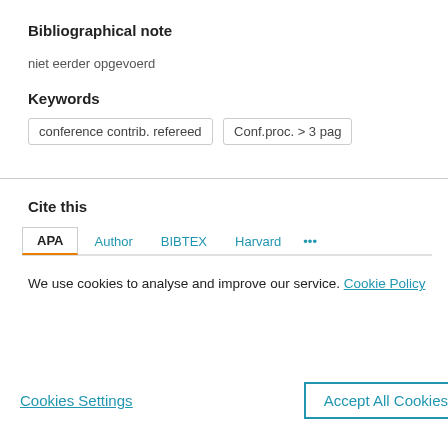Bibliographical note
niet eerder opgevoerd
Keywords
conference contrib. refereed	Conf.proc. > 3 pag
Cite this
APA  Author  BIBTEX  Harvard  ...
We use cookies to analyse and improve our service. Cookie Policy
Cookies Settings  Accept All Cookies